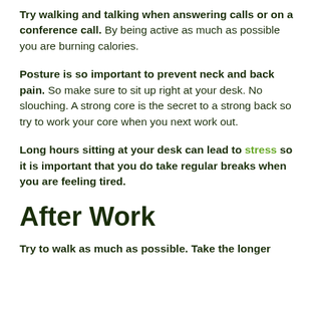Try walking and talking when answering calls or on a conference call. By being active as much as possible you are burning calories.
Posture is so important to prevent neck and back pain. So make sure to sit up right at your desk. No slouching. A strong core is the secret to a strong back so try to work your core when you next work out.
Long hours sitting at your desk can lead to stress so it is important that you do take regular breaks when you are feeling tired.
After Work
Try to walk as much as possible. Take the longer